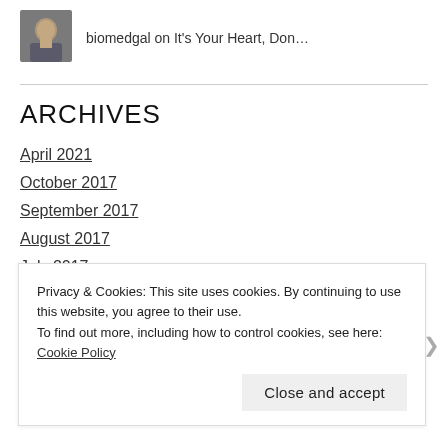[Figure (photo): Small avatar photo of a person (biomedgal)]
biomedgal on It's Your Heart, Don…
ARCHIVES
April 2021
October 2017
September 2017
August 2017
July 2017
Privacy & Cookies: This site uses cookies. By continuing to use this website, you agree to their use.
To find out more, including how to control cookies, see here: Cookie Policy
Close and accept